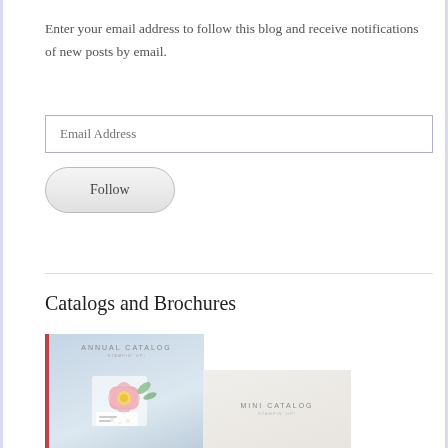Enter your email address to follow this blog and receive notifications of new posts by email.
[Figure (screenshot): Email Address input field (text box with placeholder)]
[Figure (screenshot): Follow button (rounded pill-shaped button)]
Catalogs and Brochures
[Figure (photo): Annual Catalog cover image with floral design on blue-grey background with red left border]
[Figure (photo): Mini Catalog cover image on cream/beige background]